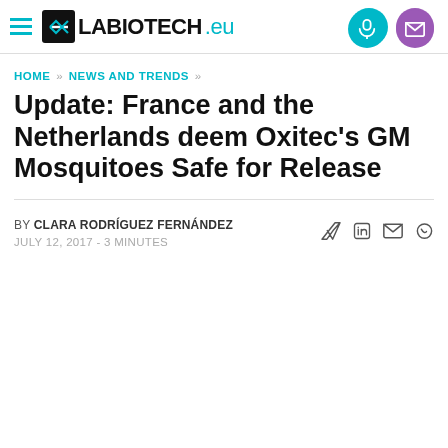LABIOTECH.eu
HOME » NEWS AND TRENDS »
Update: France and the Netherlands deem Oxitec's GM Mosquitoes Safe for Release
BY CLARA RODRÍGUEZ FERNÁNDEZ
JULY 12, 2017 - 3 MINUTES